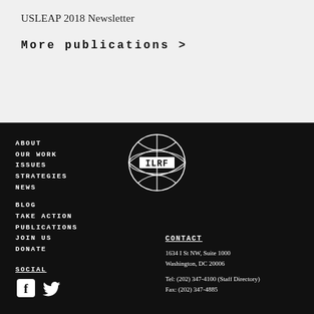USLEAP 2018 Newsletter
More publications >
ABOUT
OUR WORK
ISSUES
STRATEGIES
NEWS
BLOG
TAKE ACTION
PUBLICATIONS
JOIN US
DONATE
[Figure (logo): ILRF globe logo with text ILRF inside a rectangular banner, surrounded by a circular globe outline]
CONTACT
1634 I St NW, Suite 1000
Washington, DC 20006

Tel: (202) 347-4100 (Staff Directory)
Fax: (202) 347-4885
SOCIAL
[Figure (illustration): Facebook and Twitter social media icons in white]